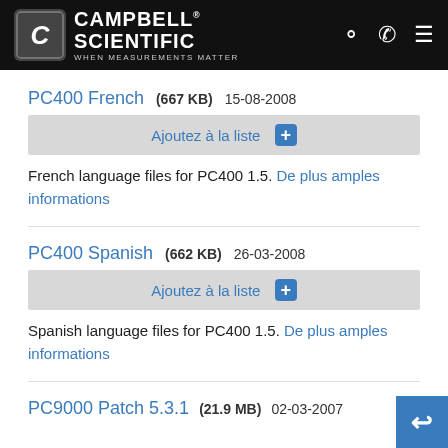[Figure (logo): Campbell Scientific logo with shield icon and tagline 'When Measurements Matter' on black header bar]
PC400 French  (667 KB)  15-08-2008
Ajoutez à la liste +
French language files for PC400 1.5. De plus amples informations
PC400 Spanish  (662 KB)  26-03-2008
Ajoutez à la liste +
Spanish language files for PC400 1.5. De plus amples informations
PC9000 Patch 5.3.1  (21.9 MB)  02-03-2007